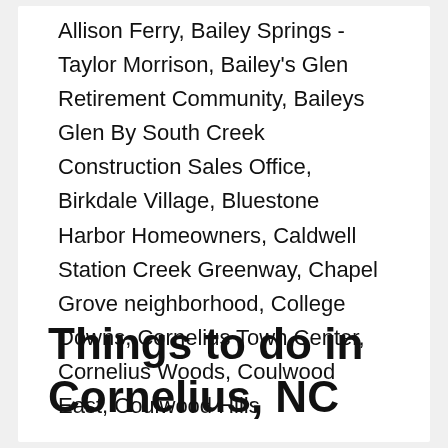Allison Ferry, Bailey Springs - Taylor Morrison, Bailey's Glen Retirement Community, Baileys Glen By South Creek Construction Sales Office, Birkdale Village, Bluestone Harbor Homeowners, Caldwell Station Creek Greenway, Chapel Grove neighborhood, College Downs, Cornelius Town Center, Cornelius Woods, Coulwood East, Coulwood Hills
Things to do in Cornelius, NC